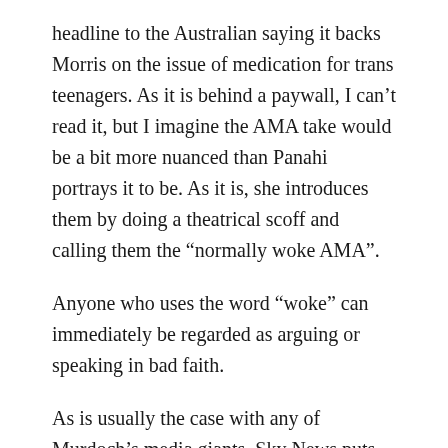headline to the Australian saying it backs Morris on the issue of medication for trans teenagers. As it is behind a paywall, I can't read it, but I imagine the AMA take would be a bit more nuanced than Panahi portrays it to be. As it is, she introduces them by doing a theatrical scoff and calling them the “normally woke AMA”.
Anyone who uses the word “woke” can immediately be regarded as arguing or speaking in bad faith.
As is usually the case with any of Murdoch’s media giants, Sky News puts such a mindboggling slant on everything they say that it is almost surprising they have so much influence. They also have no issue misrepresenting facts and positions, or completely fabricating them to fit the narrative they are trying to